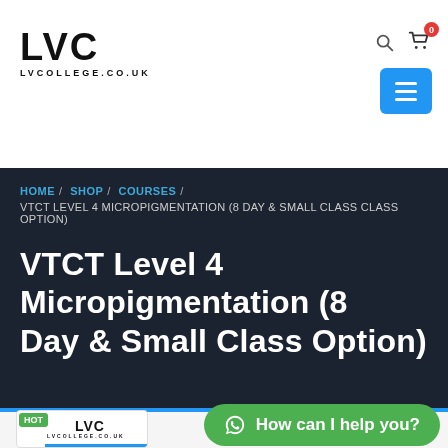[Figure (logo): LVC LVCOLLEGE.CO.UK logo in black text on white background]
[Figure (infographic): Search icon, shopping cart icon with red badge showing 0, and blue hamburger menu button in top right]
HOME / SHOP / COURSES / VTCT LEVEL 4 MICROPIGMENTATION (8 DAY & SMALL CLASS OPTION)
VTCT Level 4 Micropigmentation (8 Day & Small Class Option)
[Figure (logo): HOT badge with LVC logo thumbnail card at bottom left]
[Figure (infographic): Green WhatsApp chat bubble saying 'How can I help you?' at bottom right]